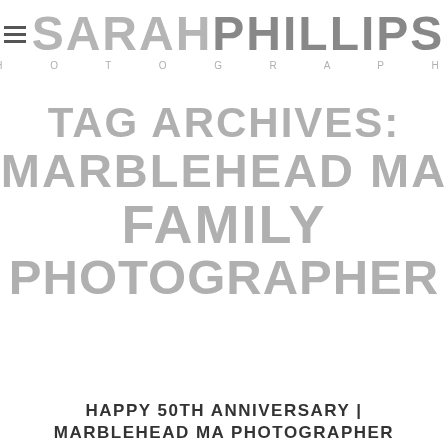SARAH PHILLIPS PHOTOGRAPHY
TAG ARCHIVES: MARBLEHEAD MA FAMILY PHOTOGRAPHER
HAPPY 50TH ANNIVERSARY | MARBLEHEAD MA PHOTOGRAPHER